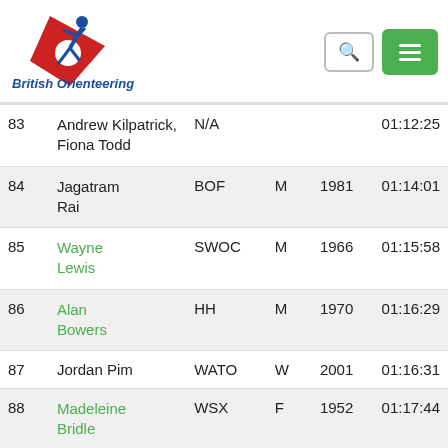[Figure (logo): British Orienteering logo with running figure graphic and blue italic text]
| # | Name | Club | Gender | Year | Time |
| --- | --- | --- | --- | --- | --- |
| 83 | Andrew Kilpatrick, Fiona Todd | N/A |  |  | 01:12:25 |
| 84 | Jagatram Rai | BOF | M | 1981 | 01:14:01 |
| 85 | Wayne Lewis | SWOC | M | 1966 | 01:15:58 |
| 86 | Alan Bowers | HH | M | 1970 | 01:16:29 |
| 87 | Jordan Pim | WATO | W | 2001 | 01:16:31 |
| 88 | Madeleine Bridle | WSX | F | 1952 | 01:17:44 |